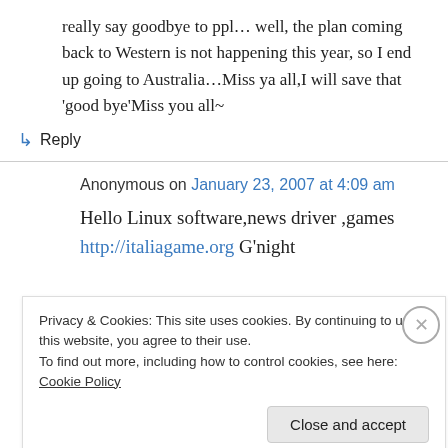really say goodbye to ppl… well, the plan coming back to Western is not happening this year, so I end up going to Australia…Miss ya all,I will save that 'good bye'Miss you all~
↳ Reply
Anonymous on January 23, 2007 at 4:09 am
Hello Linux software,news driver ,games http://italiagame.org G'night
Privacy & Cookies: This site uses cookies. By continuing to use this website, you agree to their use. To find out more, including how to control cookies, see here: Cookie Policy